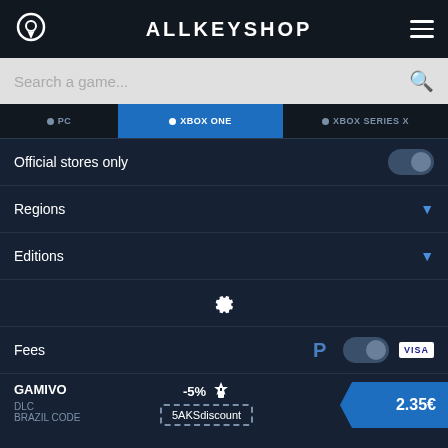ALLKEYSHOP
Search a game...
XBOX ONE
Official stores only
Regions
Editions
Fees
GAMIVO -5% 5AKSdiscount DLC BRAZIL CODE 2.35€
GAMIVO -5% 5AKSdi... 2.84€
Help